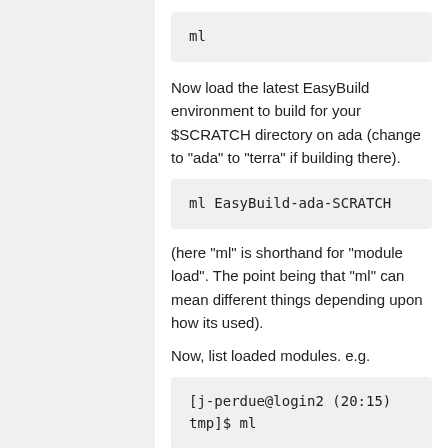ml
Now load the latest EasyBuild environment to build for your $SCRATCH directory on ada (change to "ada" to "terra" if building there).
ml EasyBuild-ada-SCRATCH
(here "ml" is shorthand for "module load". The point being that "ml" can mean different things depending upon how its used).
Now, list loaded modules. e.g.
[j-perdue@login2 (20:15) tmp]$ ml